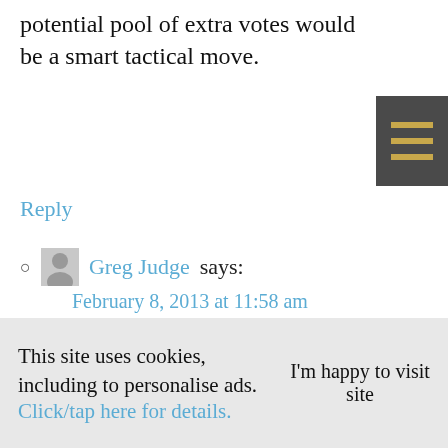potential pool of extra votes would be a smart tactical move.
Reply
Greg Judge says:
February 8, 2013 at 11:58 am
To be fair, Chris was always leaning left of the party so another social
This site uses cookies, including to personalise ads. Click/tap here for details.
I'm happy to visit site